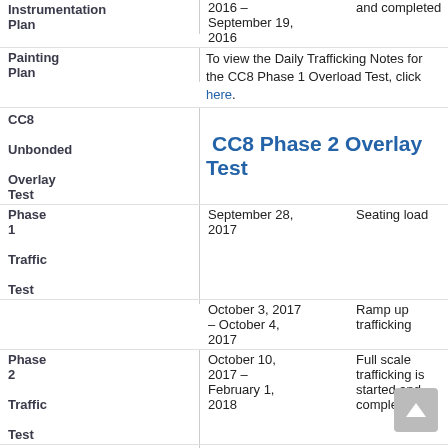| Phase/Activity | Date | Description |
| --- | --- | --- |
| Instrumentation Plan | 2016 – September 19, 2016 | and completed |
| Painting Plan |  | To view the Daily Trafficking Notes for the CC8 Phase 1 Overload Test, click here. |
| CC8 Unbonded Overlay Test |  | CC8 Phase 2 Overlay Test |
| Phase 1 Traffic Test | September 28, 2017 | Seating load |
|  | October 3, 2017 – October 4, 2017 | Ramp up trafficking |
| Phase 2 Traffic Test | October 10, 2017 – February 1, 2018 | Full scale trafficking is started and completed |
|  |  | To view the Daily Trafficking Notes for the CC8 |